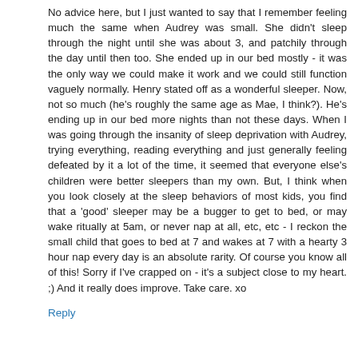No advice here, but I just wanted to say that I remember feeling much the same when Audrey was small. She didn't sleep through the night until she was about 3, and patchily through the day until then too. She ended up in our bed mostly - it was the only way we could make it work and we could still function vaguely normally. Henry stated off as a wonderful sleeper. Now, not so much (he's roughly the same age as Mae, I think?). He's ending up in our bed more nights than not these days. When I was going through the insanity of sleep deprivation with Audrey, trying everything, reading everything and just generally feeling defeated by it a lot of the time, it seemed that everyone else's children were better sleepers than my own. But, I think when you look closely at the sleep behaviors of most kids, you find that a 'good' sleeper may be a bugger to get to bed, or may wake ritually at 5am, or never nap at all, etc, etc - I reckon the small child that goes to bed at 7 and wakes at 7 with a hearty 3 hour nap every day is an absolute rarity. Of course you know all of this! Sorry if I've crapped on - it's a subject close to my heart. ;) And it really does improve. Take care. xo
Reply